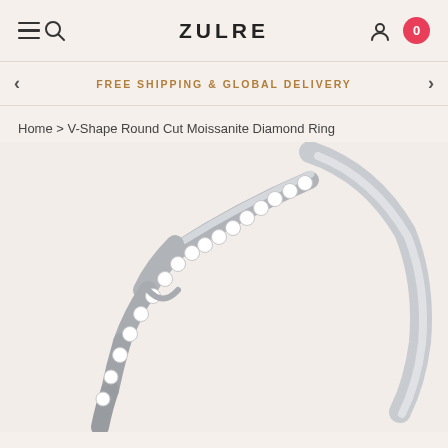ZULRE
FREE SHIPPING & GLOBAL DELIVERY
Home > V-Shape Round Cut Moissanite Diamond Ring
[Figure (photo): Close-up photo of a V-Shape Round Cut Moissanite Diamond Ring in white gold/silver, showing the V-shaped band set with small round sparkling diamonds along the top ridge and left arm of the V shape.]